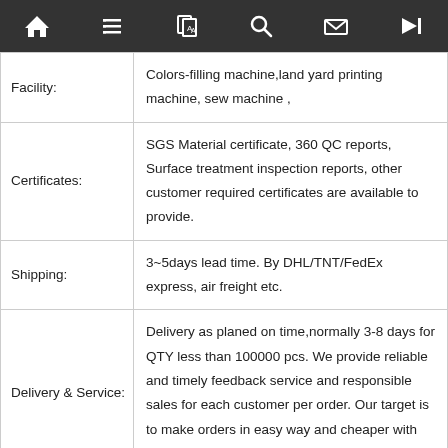[Figure (other): Navigation bar with icons: home, list/menu, translate, search, mail, skip-to-end]
| Label | Details |
| --- | --- |
| Facility: | Colors-filling machine,land yard printing machine, sew machine , |
| Certificates: | SGS Material certificate, 360 QC reports, Surface treatment inspection reports, other customer required certificates are available to provide. |
| Shipping: | 3~5days lead time. By DHL/TNT/FedEx express, air freight etc. |
| Delivery & Service: | Delivery as planed on time,normally 3-8 days for QTY less than 100000 pcs. We provide reliable and timely feedback service and responsible sales for each customer per order. Our target is to make orders in easy way and cheaper with good service. |